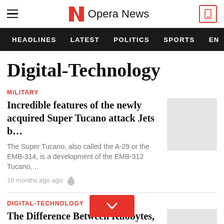Opera News
HEADLINES   LATEST   POLITICS   SPORTS   EN
Digital-Technology
MILITARY
Incredible features of the newly acquired Super Tucano attack Jets b…
The Super Tucano, also called the A-29 or the EMB-314, is a development of the EMB-312 Tucano,…
10 months ago ago
DIGITAL-TECHNOLOGY
The Difference Between Kilobytes, Megabytes, Gi…